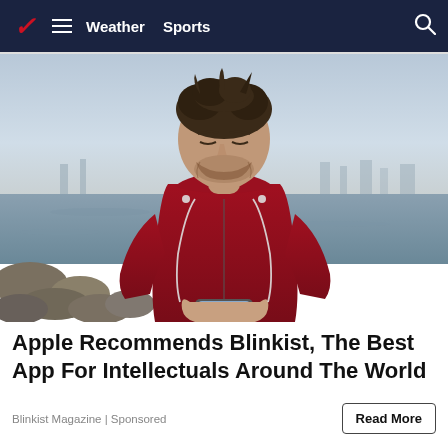Weather  Sports
[Figure (photo): Man wearing a red hoodie and earbuds looking down at a smartphone, standing outdoors near rocky waterfront with water and city skyline in background.]
Apple Recommends Blinkist, The Best App For Intellectuals Around The World
Blinkist Magazine | Sponsored
Read More